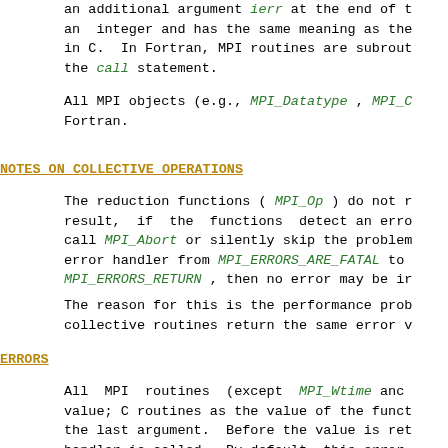an additional argument ierr at the end of the argument list. ierr is an  integer and has the same meaning as the return value of the function in C.  In Fortran, MPI routines are subroutines and are invoked with the call statement.
All MPI objects (e.g., MPI_Datatype , MPI_C... ) are of type INTEGER in Fortran.
NOTES ON COLLECTIVE OPERATIONS
The reduction functions ( MPI_Op ) do not require that all processes that call the function get the same result, if the functions detect an error. MPI implementations may call MPI_Abort or silently skip the problem. It is strongly recommended to change the error handler from MPI_ERRORS_ARE_FATAL to MPI_ERRORS_RETURN , then no error may be indicated.
The reason for this is the performance problem in ensuring that all collective routines return the same error value.
ERRORS
All  MPI  routines  (except  MPI_Wtime  and MPI_Wtick)  return  an error value; C routines as the value of the function and Fortran routines in the last argument.  Before the value is returned, the current MPI error handler is called.  By default, this error handler aborts the MPI job. The error handler may be changed with MPI_C... (for communicators), MPI_File_set_errhandler (for files), and MPI_Win_set_errhandler (for RMA windows).  The MPI-1 routine MPI_Errhandler_set may be used but its  use  is  deprecated.  The predefined error handler MPI_ERRORS_RETURN may  be  used  to cause error values to be returned.